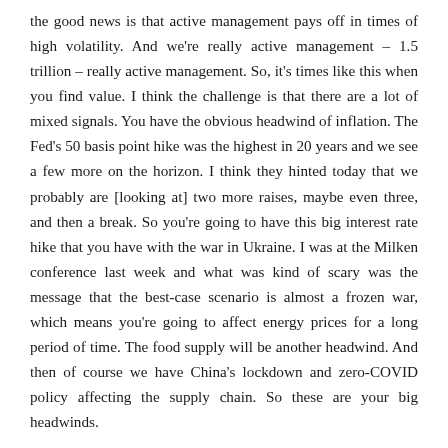the good news is that active management pays off in times of high volatility. And we're really active management – 1.5 trillion – really active management. So, it's times like this when you find value. I think the challenge is that there are a lot of mixed signals. You have the obvious headwind of inflation. The Fed's 50 basis point hike was the highest in 20 years and we see a few more on the horizon. I think they hinted today that we probably are [looking at] two more raises, maybe even three, and then a break. So you're going to have this big interest rate hike that you have with the war in Ukraine. I was at the Milken conference last week and what was kind of scary was the message that the best-case scenario is almost a frozen war, which means you're going to affect energy prices for a long period of time. The food supply will be another headwind. And then of course we have China's lockdown and zero-COVID policy affecting the supply chain. So these are your big headwinds.
And then comes the tailwind [the] Consumers are still quite flushed, probably more flushed than they were pre-COVID. It's good. You have the big tailwind of demographics in Asia, you have technological innovations. To be honest, I tell people that it's easier to go with the flow the way it flows. So find areas where there is opportunity, things like